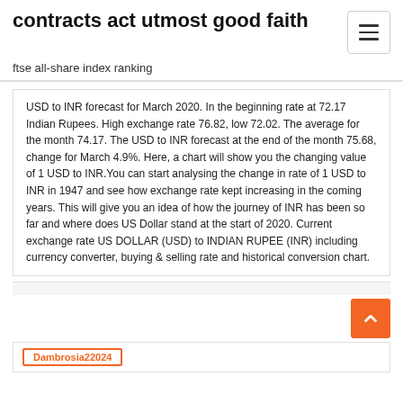contracts act utmost good faith
ftse all-share index ranking
USD to INR forecast for March 2020. In the beginning rate at 72.17 Indian Rupees. High exchange rate 76.82, low 72.02. The average for the month 74.17. The USD to INR forecast at the end of the month 75.68, change for March 4.9%. Here, a chart will show you the changing value of 1 USD to INR.You can start analysing the change in rate of 1 USD to INR in 1947 and see how exchange rate kept increasing in the coming years. This will give you an idea of how the journey of INR has been so far and where does US Dollar stand at the start of 2020. Current exchange rate US DOLLAR (USD) to INDIAN RUPEE (INR) including currency converter, buying & selling rate and historical conversion chart.
Dambrosia22024